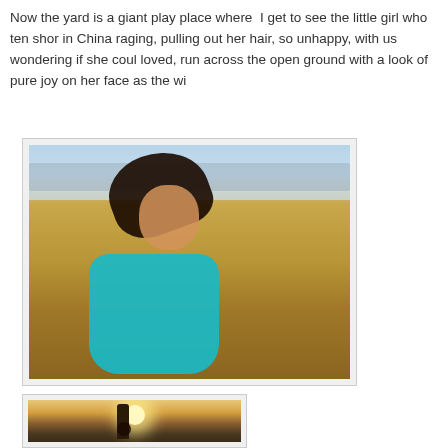Now the yard is a giant play place where  I get to see the little girl who ten shor in China raging, pulling out her hair, so unhappy, with us wondering if she coul loved, run across the open ground with a look of pure joy on her face as the wi
[Figure (photo): A young girl with dark hair blowing in the wind, wearing a teal long-sleeve shirt, running joyfully across an open field with dry grass. Sky and houses visible in the background.]
[Figure (photo): A child silhouetted against a bright sunburst/flare, standing outdoors in a yard with trees and houses in the background, warm golden-hour light.]